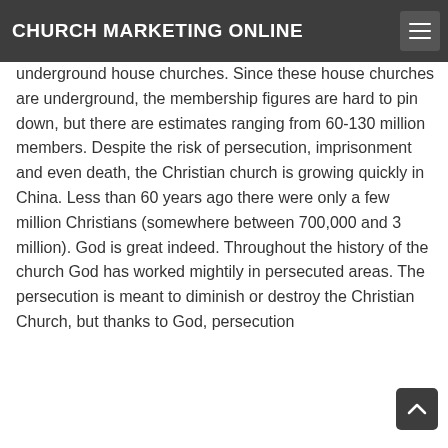CHURCH MARKETING ONLINE
underground house churches. Since these house churches are underground, the membership figures are hard to pin down, but there are estimates ranging from 60-130 million members. Despite the risk of persecution, imprisonment and even death, the Christian church is growing quickly in China. Less than 60 years ago there were only a few million Christians (somewhere between 700,000 and 3 million). God is great indeed. Throughout the history of the church God has worked mightily in persecuted areas. The persecution is meant to diminish or destroy the Christian Church, but thanks to God, persecution